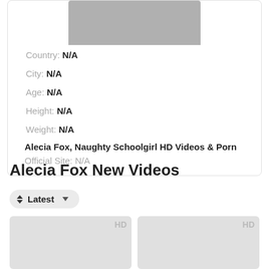[Figure (photo): Partial thumbnail image at top of card]
Country: N/A
City: N/A
Age: N/A
Height: N/A
Weight: N/A
Alecia Fox, Naughty Schoolgirl HD Videos & Porn
Official Site: N/A
Alecia Fox New Videos
Latest
[Figure (screenshot): Video thumbnail placeholder with HD badge]
[Figure (screenshot): Video thumbnail placeholder with HD badge]